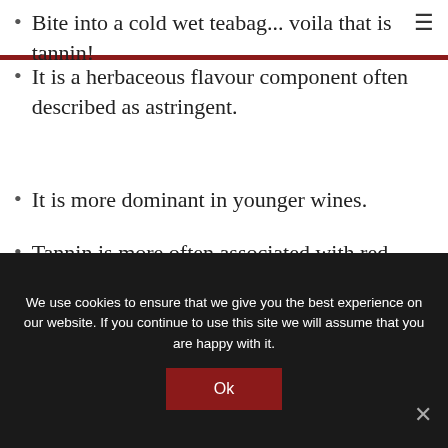Bite into a cold wet teabag... voila that is tannin!
It is a herbaceous flavour component often described as astringent.
It is more dominant in younger wines.
Tannin is more often associated with red wine. Red wine is made from the entire grape, and fermented on skins compared to white wines which are normally separated from skins as they come to the winery.
We use cookies to ensure that we give you the best experience on our website. If you continue to use this site we will assume that you are happy with it.